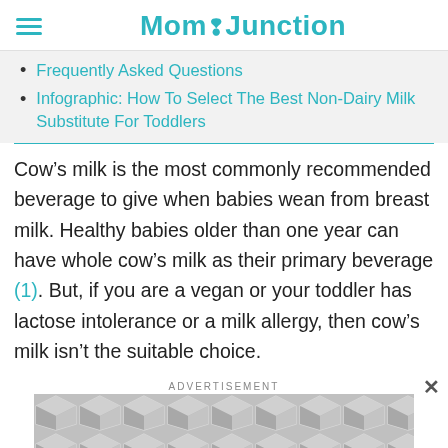MomJunction
Frequently Asked Questions
Infographic: How To Select The Best Non-Dairy Milk Substitute For Toddlers
Cow’s milk is the most commonly recommended beverage to give when babies wean from breast milk. Healthy babies older than one year can have whole cow’s milk as their primary beverage (1). But, if you are a vegan or your toddler has lactose intolerance or a milk allergy, then cow’s milk isn’t the suitable choice.
[Figure (other): Advertisement banner with geometric hexagon/diamond pattern in grey tones]